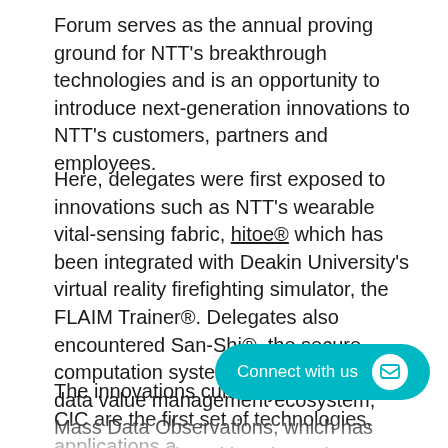Forum serves as the annual proving ground for NTT's breakthrough technologies and is an opportunity to introduce next-generation innovations to NTT's customers, partners and employees.
Here, delegates were first exposed to innovations such as NTT's wearable vital-sensing fabric, hitoe® which has been integrated with Deakin University's virtual reality firefighting simulator, the FLAIM Trainer®. Delegates also encountered San-Shi®, the secure computation system which underpins the data value management ecosystem, Mass Data Observations, which has been co-developed by Dimension Data and WSU. Both technologies were showcased at the launch of Dimension Data's first Client Innovation Centre (CIC) in August 2018.
The innovations currently on show at the CIC are the first set of technologies, applications and have been generated through Dimension Data and NTT's industry collaborations with organisations, such as